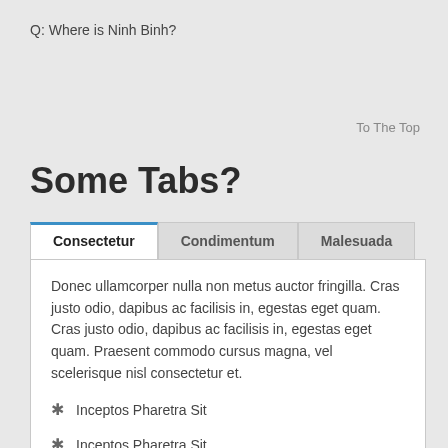Q: Where is Ninh Binh?
To The Top
Some Tabs?
Consectetur | Condimentum | Malesuada
Donec ullamcorper nulla non metus auctor fringilla. Cras justo odio, dapibus ac facilisis in, egestas eget quam. Cras justo odio, dapibus ac facilisis in, egestas eget quam. Praesent commodo cursus magna, vel scelerisque nisl consectetur et.
Inceptos Pharetra Sit
Inceptos Pharetra Sit